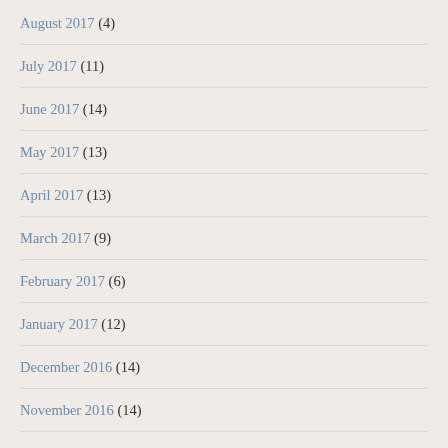August 2017 (4)
July 2017 (11)
June 2017 (14)
May 2017 (13)
April 2017 (13)
March 2017 (9)
February 2017 (6)
January 2017 (12)
December 2016 (14)
November 2016 (14)